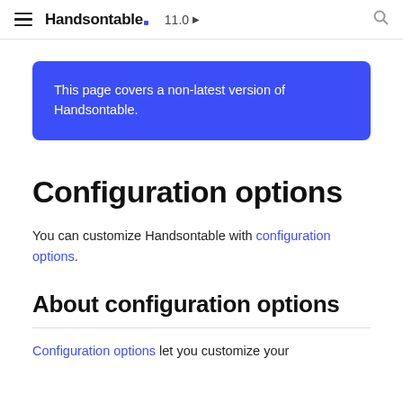Handsontable 11.0
This page covers a non-latest version of Handsontable.
Configuration options
You can customize Handsontable with configuration options.
About configuration options
Configuration options let you customize your